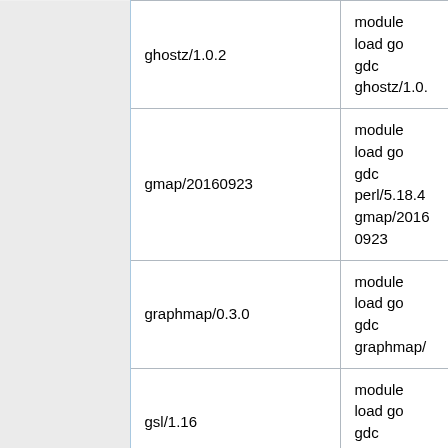|  | Module | Load Command |
| --- | --- | --- |
|  | ghostz/1.0.2 | module load gc gdc ghostz/1.0. |
|  | gmap/20160923 | module load gc gdc perl/5.18.4 gmap/20160923 |
|  | graphmap/0.3.0 | module load gc gdc graphmap/ |
|  | gsl/1.16 | module load gc gdc gsl/1.16 |
|  | gsl/1.16_gcc630 | module load gc gdc gsl/1.16_ge |
|  | gtdb-tk/1.5.0 | module load gc gdc prodigal/2. hmmer/3.3.2 python/3.6.1 pplacer/1.1.alph gsl/1.16 fastani fasttree/2.1.11 gtdb-tk/1.5.0 |